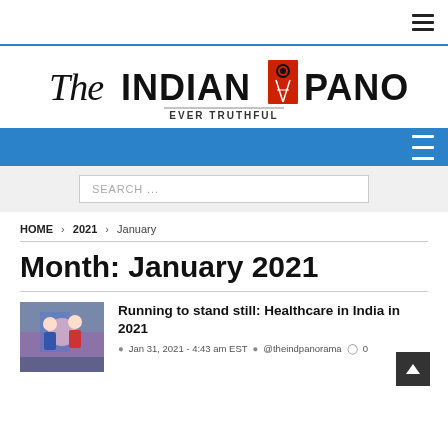The Indian Panorama - Ever Truthful
[Figure (logo): The Indian Panorama newspaper logo with red emblem, tagline 'EVER TRUTHFUL']
SEARCH ...
HOME > 2021 > January
Month: January 2021
[Figure (photo): Healthcare photo showing medical workers in India]
Running to stand still: Healthcare in India in 2021
Jan 31, 2021 - 4:43 am EST  @theindpanorama  0